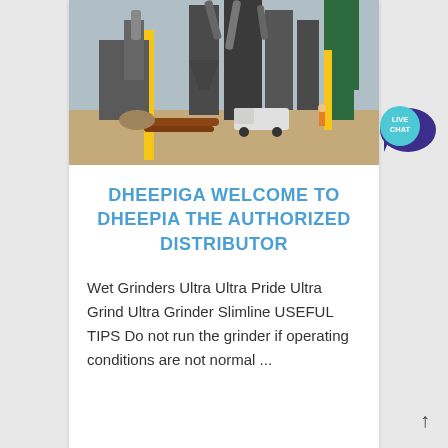[Figure (photo): Industrial factory site with large machinery, silos, yellow pillars, pipes, and a small white truck on a dirt ground.]
DHEEPIGA WELCOME TO DHEEPIA THE AUTHORIZED DISTRIBUTOR
Wet Grinders Ultra Ultra Pride Ultra Grind Ultra Grinder Slimline USEFUL TIPS Do not run the grinder if operating conditions are not normal ...